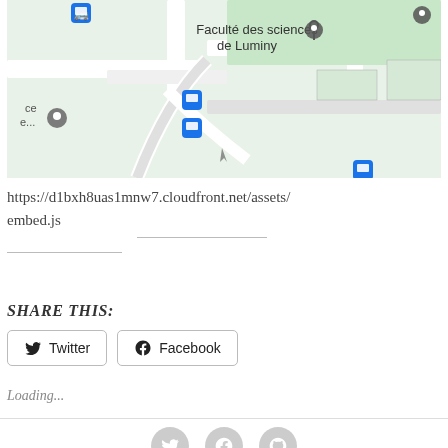[Figure (map): Street map showing Faculté des sciences de Luminy area with bus stop icons, location pins, and green park area]
https://d1bxh8uas1mnw7.cloudfront.net/assets/embed.js
SHARE THIS:
Twitter  Facebook
Loading...
Twitter Facebook GitHub icons